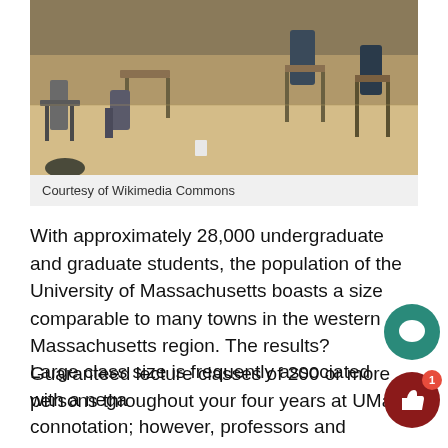[Figure (photo): Classroom interior with chairs and desks, viewed from front, beige/tan floor, several chair-desks visible]
Courtesy of Wikimedia Commons
With approximately 28,000 undergraduate and graduate students, the population of the University of Massachusetts boasts a size comparable to many towns in the western Massachusetts region. The results? Guaranteed lecture classes of 200 or more persons throughout your four years at UMass.
Large class size is frequently associated with a negative connotation; however, professors and students at the University offer a variety of perspectives on this inevitable occurrence.